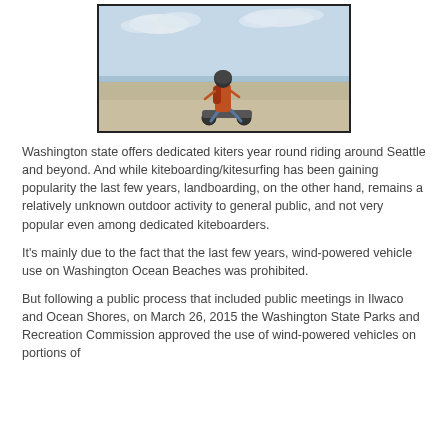[Figure (photo): A person riding a landboard (a skateboard with large wheels) on a wide sandy beach with calm water and overcast sky in the background. The rider is wearing a helmet and an orange backpack/life vest, dressed in jeans.]
Washington state offers dedicated kiters year round riding around Seattle and beyond. And while kiteboarding/kitesurfing has been gaining popularity the last few years, landboarding, on the other hand, remains a relatively unknown outdoor activity to general public, and not very popular even among dedicated kiteboarders.
It's mainly due to the fact that the last few years, wind-powered vehicle use on Washington Ocean Beaches was prohibited.
But following a public process that included public meetings in Ilwaco and Ocean Shores, on March 26, 2015 the Washington State Parks and Recreation Commission approved the use of wind-powered vehicles on portions of